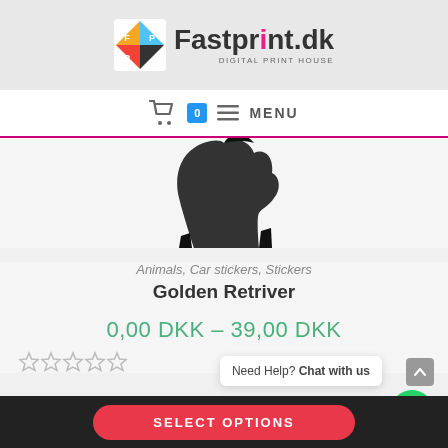[Figure (logo): Fastprint.dk Digital Print House logo with colorful icon and bold text]
0  MENU
[Figure (illustration): Partial black silhouette of a Golden Retriever dog sticker, cropped at top]
Animals, Car stickers, Stickers
Golden Retriver
0,00 DKK – 39,00 DKK
[Figure (other): Four empty/unfilled star rating icons]
Need Help? Chat with us
SELECT OPTIONS